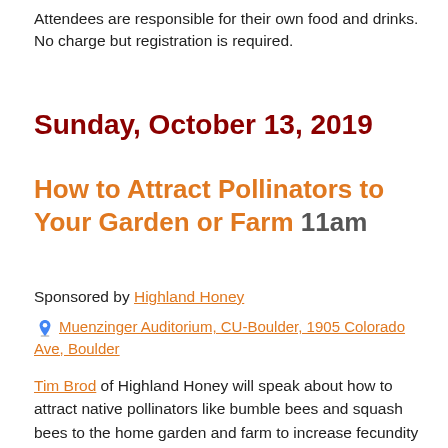Attendees are responsible for their own food and drinks. No charge but registration is required.
Sunday, October 13, 2019
How to Attract Pollinators to Your Garden or Farm 11am
Sponsored by Highland Honey
Muenzinger Auditorium, CU-Boulder, 1905 Colorado Ave, Boulder
Tim Brod of Highland Honey will speak about how to attract native pollinators like bumble bees and squash bees to the home garden and farm to increase fecundity and pollinate plants that require pollinators other than honey bees. He will